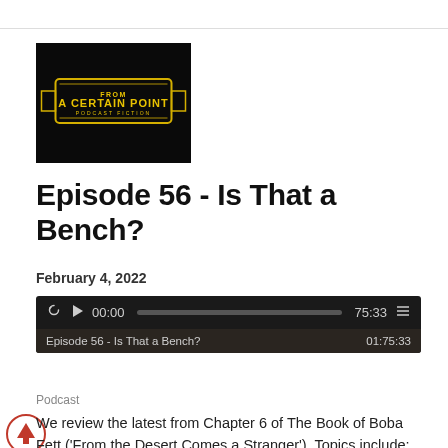[Figure (logo): A Certain Point podcast logo - black square with yellow stylized text 'A CERTAIN POINT' in a badge/label design]
Episode 56 - Is That a Bench?
February 4, 2022
[Figure (other): Audio player widget showing 00:00 / 75:33, episode title 'Episode 56 - Is That a Bench?' and duration 01:75:33]
Podcast
We review the latest from Chapter 6 of The Book of Boba Fett ('From the Desert Comes a Stranger'). Topics include: